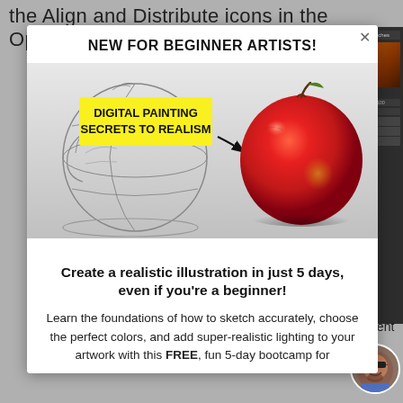the Align and Distribute icons in the Options bar.
NEW FOR BEGINNER ARTISTS!
[Figure (illustration): Promotional image showing a pencil sketch of a sphere on the left with an arrow pointing to a photorealistic red apple on the right. A yellow badge reads 'DIGITAL PAINTING SECRETS TO REALISM'.]
Create a realistic illustration in just 5 days, even if you're a beginner!
Learn the foundations of how to sketch accurately, choose the perfect colors, and add super-realistic lighting to your artwork with this FREE, fun 5-day bootcamp for
different